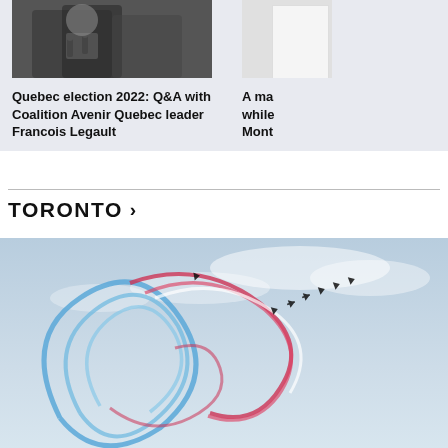[Figure (photo): Photo of a man in suit speaking into microphones, partially cropped]
Quebec election 2022: Q&A with Coalition Avenir Quebec leader Francois Legault
[Figure (photo): Partially visible image on the right side, cropped, appears to be a person or object in Montreal]
A ma while Mont
TORONTO >
[Figure (photo): Aerial display team aircraft leaving colored smoke trails (blue, red, white) in looping patterns against a light blue sky — airshow photo]